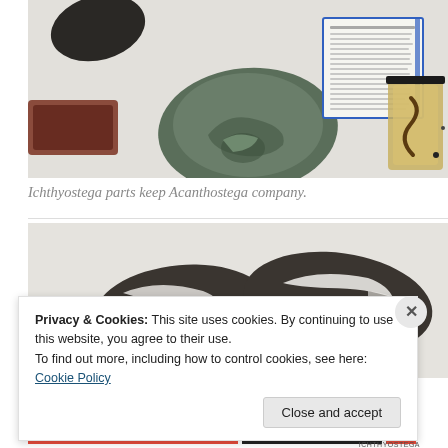[Figure (photo): Museum display case showing fossil specimens including dark stone fragments, a greenish carved/fossil rock with relief details, and a yellowish specimen in a container on the right, with an information placard in the background.]
Ichthyostega parts keep Acanthostega company.
[Figure (photo): Museum display of dark fossil bone fragments, partially white-encrusted, on a light background.]
Privacy & Cookies: This site uses cookies. By continuing to use this website, you agree to their use.
To find out more, including how to control cookies, see here: Cookie Policy